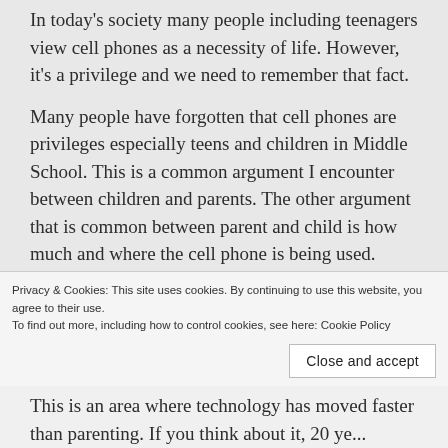In today's society many people including teenagers view cell phones as a necessity of life. However, it's a privilege and we need to remember that fact.
Many people have forgotten that cell phones are privileges especially teens and children in Middle School. This is a common argument I encounter between children and parents. The other argument that is common between parent and child is how much and where the cell phone is being used. Teens basically accuse parents of child abuse if they say no to a phone or if the parent sets limits. You are not being abusive, you are being a
Privacy & Cookies: This site uses cookies. By continuing to use this website, you agree to their use.
To find out more, including how to control cookies, see here: Cookie Policy
Close and accept
This is an area where technology has moved faster than parenting. If you think about it, 20 ye...